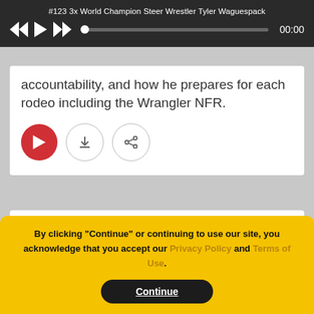#123 3x World Champion Steer Wrestler Tyler Waguespack
[Figure (screenshot): Audio player controls: skip-back, play, skip-forward, progress bar, time display 00:00]
accountability, and how he prepares for each rodeo including the Wrangler NFR.
[Figure (infographic): Three action buttons: red play button, download button (circle), share button (circle)]
Posted: Thursday, July 07, 2022
By clicking "Continue" or continuing to use our site, you acknowledge that you accept our Privacy Policy and Terms of Use.
Continue
BRIGGS